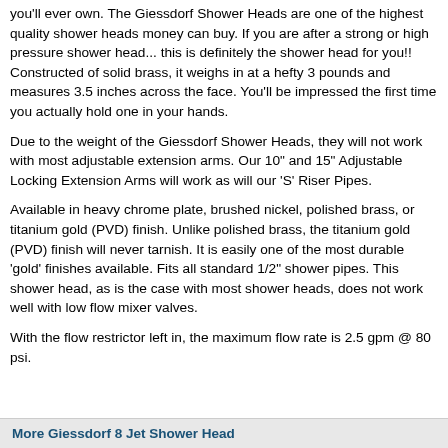you'll ever own. The Giessdorf Shower Heads are one of the highest quality shower heads money can buy. If you are after a strong or high pressure shower head... this is definitely the shower head for you!! Constructed of solid brass, it weighs in at a hefty 3 pounds and measures 3.5 inches across the face. You'll be impressed the first time you actually hold one in your hands.
Due to the weight of the Giessdorf Shower Heads, they will not work with most adjustable extension arms. Our 10" and 15" Adjustable Locking Extension Arms will work as will our 'S' Riser Pipes.
Available in heavy chrome plate, brushed nickel, polished brass, or titanium gold (PVD) finish. Unlike polished brass, the titanium gold (PVD) finish will never tarnish. It is easily one of the most durable 'gold' finishes available. Fits all standard 1/2" shower pipes. This shower head, as is the case with most shower heads, does not work well with low flow mixer valves.
With the flow restrictor left in, the maximum flow rate is 2.5 gpm @ 80 psi.
More Giessdorf 8 Jet Shower Head